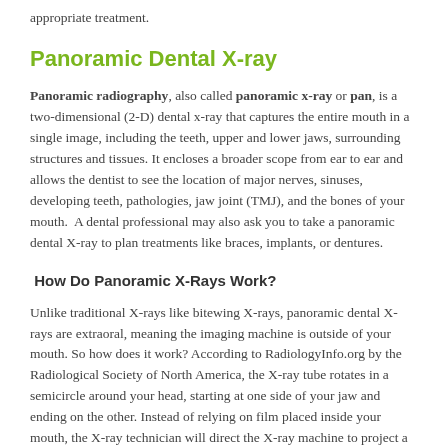appropriate treatment.
Panoramic Dental X-ray
Panoramic radiography, also called panoramic x-ray or pan, is a two-dimensional (2-D) dental x-ray that captures the entire mouth in a single image, including the teeth, upper and lower jaws, surrounding structures and tissues. It encloses a broader scope from ear to ear and allows the dentist to see the location of major nerves, sinuses, developing teeth, pathologies, jaw joint (TMJ), and the bones of your mouth.  A dental professional may also ask you to take a panoramic dental X-ray to plan treatments like braces, implants, or dentures.
How Do Panoramic X-Rays Work?
Unlike traditional X-rays like bitewing X-rays, panoramic dental X-rays are extraoral, meaning the imaging machine is outside of your mouth. So how does it work? According to RadiologyInfo.org by the Radiological Society of North America, the X-ray tube rotates in a semicircle around your head, starting at one side of your jaw and ending on the other. Instead of relying on film placed inside your mouth, the X-ray technician will direct the X-ray machine to project a